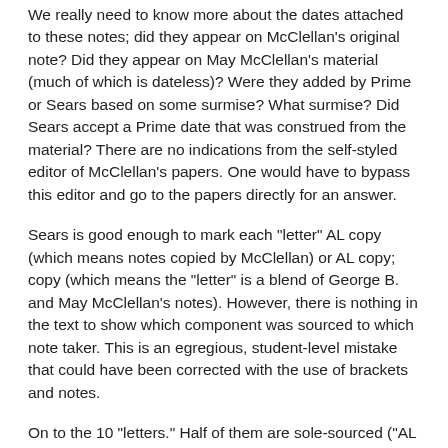We really need to know more about the dates attached to these notes; did they appear on McClellan's original note? Did they appear on May McClellan's material (much of which is dateless)? Were they added by Prime or Sears based on some surmise? What surmise? Did Sears accept a Prime date that was construed from the material? There are no indications from the self-styled editor of McClellan's papers. One would have to bypass this editor and go to the papers directly for an answer.
Sears is good enough to mark each "letter" AL copy (which means notes copied by McClellan) or AL copy; copy (which means the "letter" is a blend of George B. and May McClellan's notes). However, there is nothing in the text to show which component was sourced to which note taker. This is an egregious, student-level mistake that could have been corrected with the use of brackets and notes.
On to the 10 "letters." Half of them are sole-sourced ("AL copy") to McClellan's own notes, and half are sourced to both father and daughter ("AL copy; copy"). None of them have an entire date supplied by Sears; three have years supplied by Sears, the rest have both a year supplied along